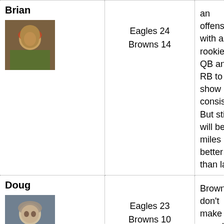| Person | Score | Comment |
| --- | --- | --- |
| Brian | Eagles 24
Browns 14 | an offense with a rookie QB and RB to show consistency. But still it will be miles better than last year. Passes of more than 6 yards in the air! That's progress! |
| Doug | Eagles 23
Browns 10 | Browns don't make a complete hash of it, but lose anyway. |
| Kevin |  | If there's one thing I've learned in making Browns predictions on CST, it's to NEVER pick them to win the first game no matter if they're playing the Green Bay Packers or the St. |